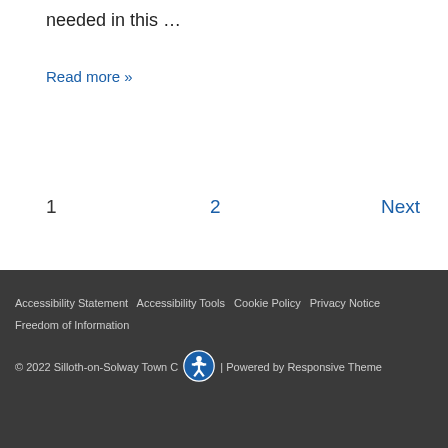needed in this …
Read more »
1  2  Next
Accessibility Statement  Accessibility Tools  Cookie Policy  Privacy Notice  Freedom of Information
© 2022 Silloth-on-Solway Town Council | Powered by Responsive Theme